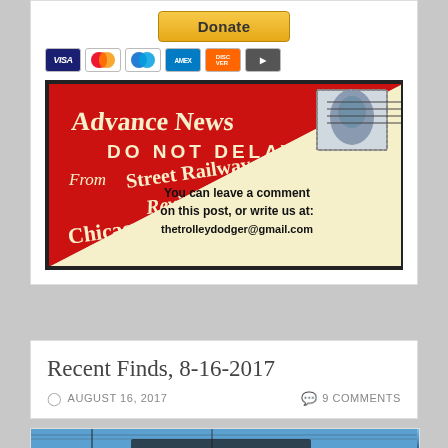[Figure (other): PayPal Donate button]
[Figure (other): Credit card icons: Visa, Mastercard, Mastercard, American Express, Discover, and another card]
[Figure (illustration): Vintage red envelope graphic with text: 'Advance News Do Not Delay From Street Railway Review Chicago'. Right side cream background with text: 'You can leave a comment on this post, or write us at: thetrolleydodger@gmail.com'. Postage stamp in upper right.]
Recent Finds, 8-16-2017
AUGUST 16, 2017   9 COMMENTS
[Figure (photo): Bottom of page photo partially visible, showing what appears to be a streetcar or trolley scene with blue sky and utility poles.]